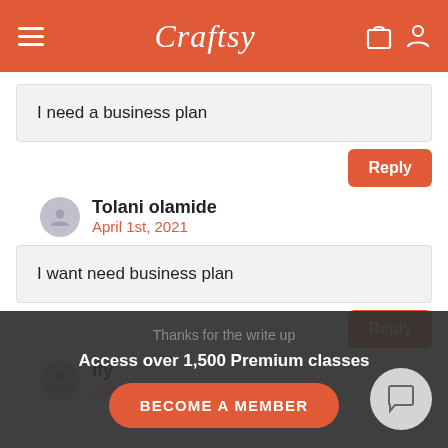[Figure (screenshot): Craftsy website header with hamburger menu, Craftsy logo in white script, and shopping bag and user icons on orange background]
I need a business plan
Reply
Tolani olamide
April 1st, 2021
I want need business plan
Reply
Ify
June 2nd, 2021
Thanks for the write up
Access over 1,500 Premium classes
BECOME A MEMBER